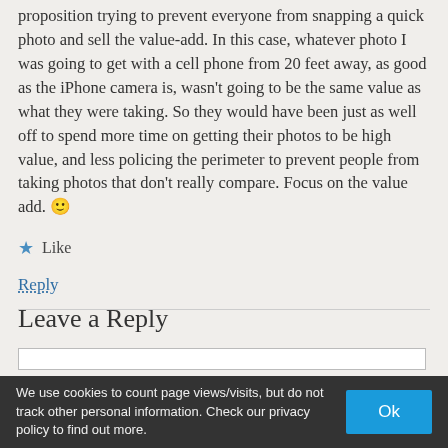proposition trying to prevent everyone from snapping a quick photo and sell the value-add. In this case, whatever photo I was going to get with a cell phone from 20 feet away, as good as the iPhone camera is, wasn't going to be the same value as what they were taking. So they would have been just as well off to spend more time on getting their photos to be high value, and less policing the perimeter to prevent people from taking photos that don't really compare. Focus on the value add. 🙂
★ Like
Reply
Leave a Reply
We use cookies to count page views/visits, but do not track other personal information. Check our privacy policy to find out more.